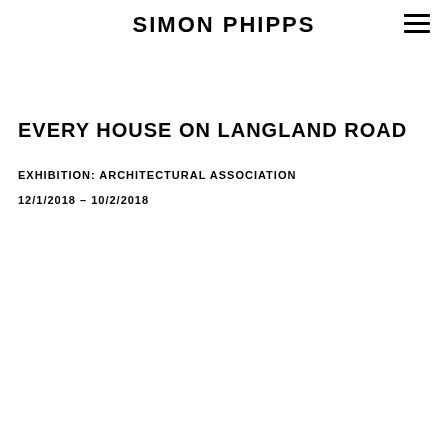SIMON PHIPPS
EVERY HOUSE ON LANGLAND ROAD
EXHIBITION: ARCHITECTURAL ASSOCIATION
12/1/2018 – 10/2/2018